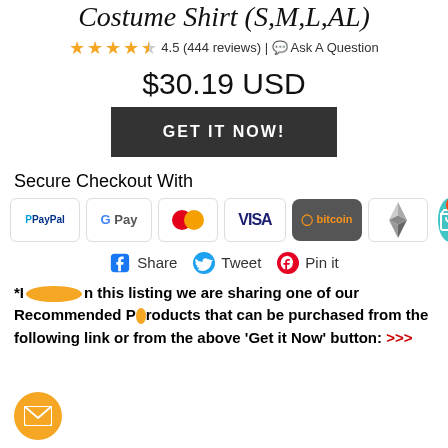Costume Shirt (S,M,L,AL)
4.5 (444 reviews) | Ask A Question
$30.19 USD
GET IT NOW!
Secure Checkout With
[Figure (infographic): Payment method icons: PayPal, Google Pay, Mastercard, Visa, Bitcoin, Ethereum, and a teal cart button with badge showing 0]
[Figure (infographic): Social share buttons: Facebook Share, Twitter Tweet, Pinterest Pin it]
*In this listing we are sharing one of our Recommended Products that can be purchased from the following link or from the above 'Get it Now' button: >>>